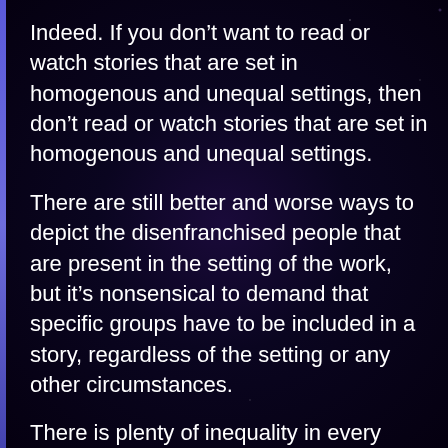Indeed. If you don't want to read or watch stories that are set in homogenous and unequal settings, then don't read or watch stories that are set in homogenous and unequal settings.
There are still better and worse ways to depict the disenfranchised people that are present in the setting of the work, but it's nonsensical to demand that specific groups have to be included in a story, regardless of the setting or any other circumstances.
There is plenty of inequality in every setting, even one that features great ethnic and religious homogeneity. As long as you deal with that reasonably well, there really is no grounds for